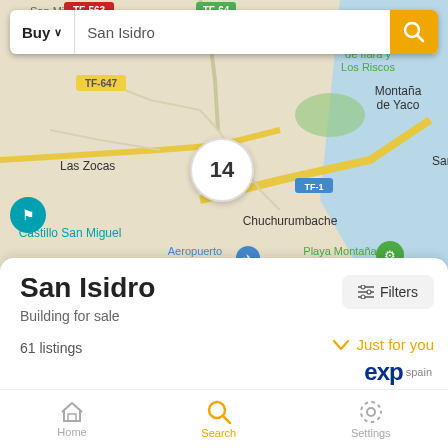[Figure (map): Google Maps view showing San Isidro area in Tenerife, Spain. Shows roads including TF-563, TF-647, TF-64, TF-1, landmarks including Montaña de Yaco, Montaña de Ifara y Los Riscos, Las Zocas, Castillo San Miguel, Chuchurumbache, Playa Montaña Pelada, Aeropuerto de Tenerife. A white circle with '14' indicates 14 clustered listings near San Isidro.]
Buy
San Isidro
San Isidro
Building for sale
Filters
61 listings
Just for you
eXp Spain
Home  Search  Settings